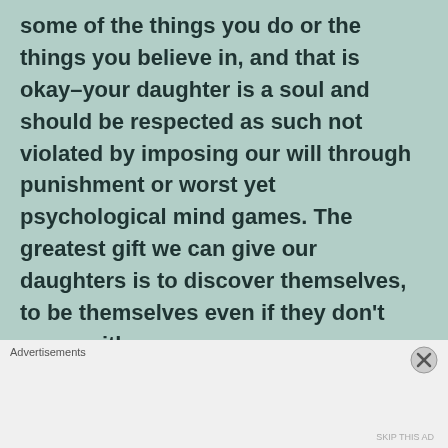some of the things you do or the things you believe in, and that is okay–your daughter is a soul and should be respected as such not violated by imposing our will through punishment or worst yet psychological mind games.  The greatest gift we can give our daughters is to discover themselves, to be themselves even if they don't agree with us.
Advertisements